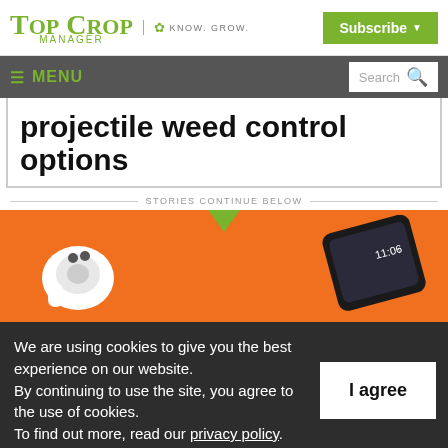Top Crop Manager | KNOW. GROW. | Subscribe
≡ MENU | Search
projectile weed control options
STORIES CONTINUE BELOW
[Figure (photo): Orange background with white AirPod earbud and black smartphone showing 11:06, with a green triangle at top center.]
We are using cookies to give you the best experience on our website.
By continuing to use the site, you agree to the use of cookies.
To find out more, read our privacy policy.